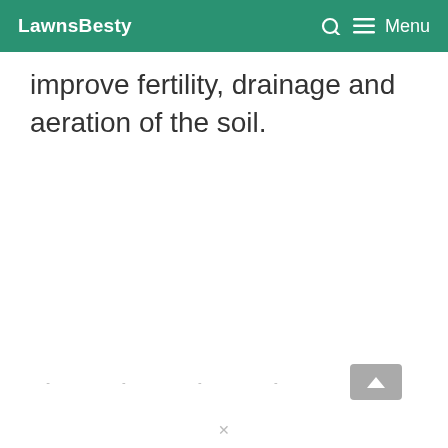LawnsBesty  Menu
improve fertility, drainage and aeration of the soil.
- - - -